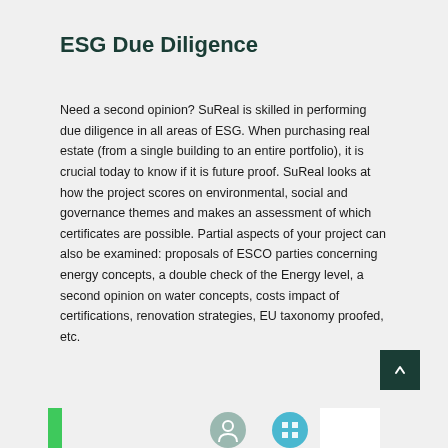ESG Due Diligence
Need a second opinion? SuReal is skilled in performing due diligence in all areas of ESG. When purchasing real estate (from a single building to an entire portfolio), it is crucial today to know if it is future proof. SuReal looks at how the project scores on environmental, social and governance themes and makes an assessment of which certificates are possible. Partial aspects of your project can also be examined: proposals of ESCO parties concerning energy concepts, a double check of the Energy level, a second opinion on water concepts, costs impact of certifications, renovation strategies, EU taxonomy proofed, etc.
[Figure (illustration): Bottom strip with green bar, circular icons, and white box]